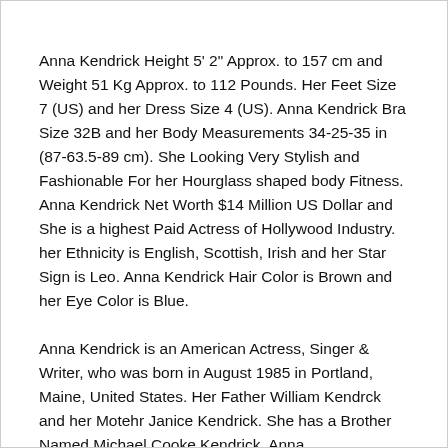Anna Kendrick Height 5' 2" Approx. to 157 cm and Weight 51 Kg Approx. to 112 Pounds. Her Feet Size 7 (US) and her Dress Size 4 (US). Anna Kendrick Bra Size 32B and her Body Measurements 34-25-35 in (87-63.5-89 cm). She Looking Very Stylish and Fashionable For her Hourglass shaped body Fitness. Anna Kendrick Net Worth $14 Million US Dollar and She is a highest Paid Actress of Hollywood Industry. her Ethnicity is English, Scottish, Irish and her Star Sign is Leo. Anna Kendrick Hair Color is Brown and her Eye Color is Blue.
Anna Kendrick is an American Actress, Singer & Writer, who was born in August 1985 in Portland, Maine, United States. Her Father William Kendrck and her Motehr Janice Kendrick. She has a Brother Named Michael Cooke Kendrick. Anna Kendrick is a Most Beautiful and Stylish and more charisma...